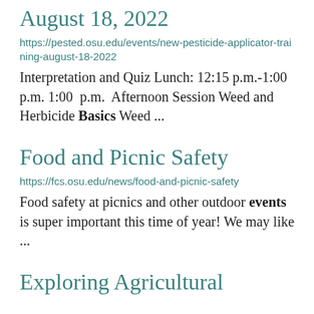August 18, 2022
https://pested.osu.edu/events/new-pesticide-applicator-training-august-18-2022
Interpretation and Quiz Lunch: 12:15 p.m.-1:00 p.m. 1:00 p.m. Afternoon Session Weed and Herbicide Basics Weed ...
Food and Picnic Safety
https://fcs.osu.edu/news/food-and-picnic-safety
Food safety at picnics and other outdoor events is super important this time of year! We may like ...
Exploring Agricultural